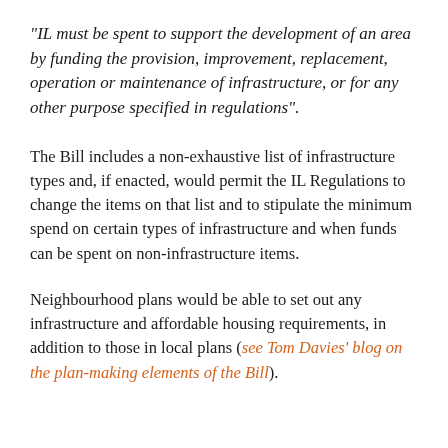“IL must be spent to support the development of an area by funding the provision, improvement, replacement, operation or maintenance of infrastructure, or for any other purpose specified in regulations”.
The Bill includes a non-exhaustive list of infrastructure types and, if enacted, would permit the IL Regulations to change the items on that list and to stipulate the minimum spend on certain types of infrastructure and when funds can be spent on non-infrastructure items.
Neighbourhood plans would be able to set out any infrastructure and affordable housing requirements, in addition to those in local plans (see Tom Davies’ blog on the plan-making elements of the Bill).